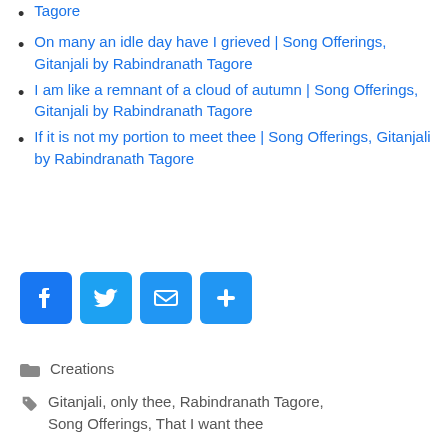Tagore
On many an idle day have I grieved | Song Offerings, Gitanjali by Rabindranath Tagore
I am like a remnant of a cloud of autumn | Song Offerings, Gitanjali by Rabindranath Tagore
If it is not my portion to meet thee | Song Offerings, Gitanjali by Rabindranath Tagore
[Figure (infographic): Four social sharing buttons: Facebook (blue f icon), Twitter (blue bird icon), Email (blue envelope icon), More/Add (blue plus icon)]
Creations
Gitanjali, only thee, Rabindranath Tagore, Song Offerings, That I want thee